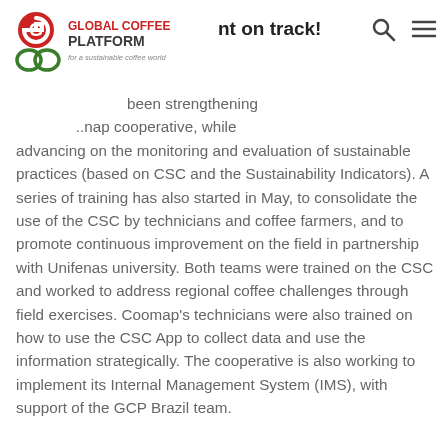Global Coffee Platform — nt on track!
[Figure (logo): Global Coffee Platform logo with green and red G icon and ap letters]
been strengthening …nap cooperative, while advancing on the monitoring and evaluation of sustainable practices (based on CSC and the Sustainability Indicators). A series of training has also started in May, to consolidate the use of the CSC by technicians and coffee farmers, and to promote continuous improvement on the field in partnership with Unifenas university. Both teams were trained on the CSC and worked to address regional coffee challenges through field exercises. Coomap's technicians were also trained on how to use the CSC App to collect data and use the information strategically. The cooperative is also working to implement its Internal Management System (IMS), with support of the GCP Brazil team.